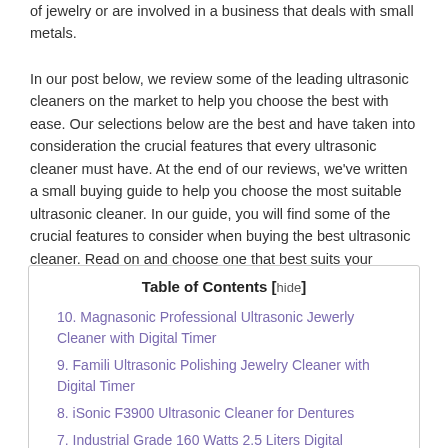of jewelry or are involved in a business that deals with small metals.
In our post below, we review some of the leading ultrasonic cleaners on the market to help you choose the best with ease. Our selections below are the best and have taken into consideration the crucial features that every ultrasonic cleaner must have. At the end of our reviews, we've written a small buying guide to help you choose the most suitable ultrasonic cleaner. In our guide, you will find some of the crucial features to consider when buying the best ultrasonic cleaner. Read on and choose one that best suits your needs.
Table of Contents [hide]
10. Magnasonic Professional Ultrasonic Jewerly Cleaner with Digital Timer
9. Famili Ultrasonic Polishing Jewelry Cleaner with Digital Timer
8. iSonic F3900 Ultrasonic Cleaner for Dentures
7. Industrial Grade 160 Watts 2.5 Liters Digital